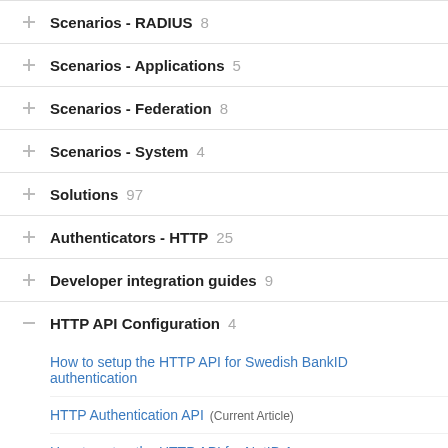Scenarios - RADIUS  8
Scenarios - Applications  5
Scenarios - Federation  8
Scenarios - System  4
Solutions  97
Authenticators - HTTP  25
Developer integration guides  9
HTTP API Configuration  4
How to setup the HTTP API for Swedish BankID authentication
HTTP Authentication API  (Current Article)
How to setup the HTTP API for NetID Access (SITHS/EFOS/Own